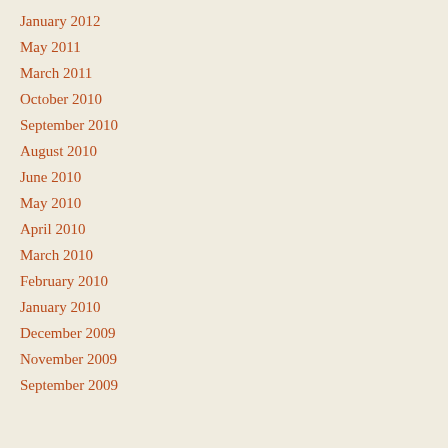January 2012
May 2011
March 2011
October 2010
September 2010
August 2010
June 2010
May 2010
April 2010
March 2010
February 2010
January 2010
December 2009
November 2009
September 2009